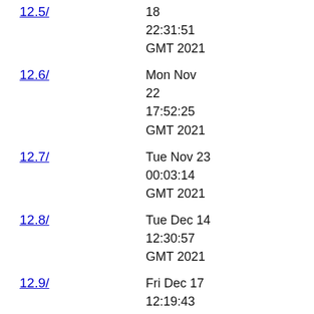12.5/ — 18 22:31:51 GMT 2021
12.6/ — Mon Nov 22 17:52:25 GMT 2021
12.7/ — Tue Nov 23 00:03:14 GMT 2021
12.8/ — Tue Dec 14 12:30:57 GMT 2021
12.9/ — Fri Dec 17 12:19:43 GMT 2021
13.0/ — Tue Feb 08 09:08:29 GMT 2022
13.1/ — Fri Feb 18 13:19:10